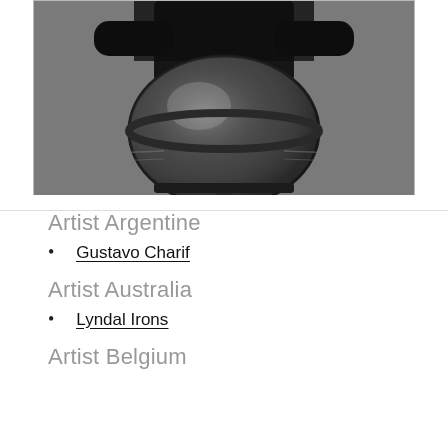[Figure (photo): Black and white photograph of a person holding or standing behind a large spherical globe on a stand, outdoors with blurred background]
Artist Argentine
Gustavo Charif
Artist Australia
Lyndal Irons
Artist Belgium